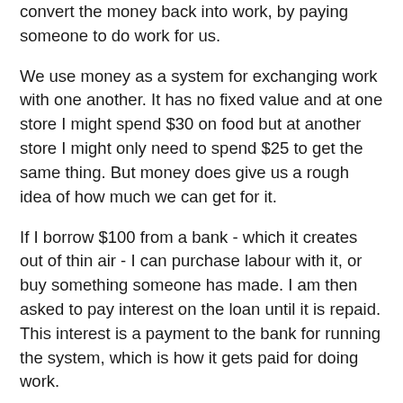convert the money back into work, by paying someone to do work for us.
We use money as a system for exchanging work with one another. It has no fixed value and at one store I might spend $30 on food but at another store I might only need to spend $25 to get the same thing. But money does give us a rough idea of how much we can get for it.
If I borrow $100 from a bank - which it creates out of thin air - I can purchase labour with it, or buy something someone has made. I am then asked to pay interest on the loan until it is repaid. This interest is a payment to the bank for running the system, which is how it gets paid for doing work.
When I have spent the $100 loan, the only way I can get the money back is by earning it. So I will have to work for someone else to get $100, plus the interest owed, and then I can repay the loan. In this way, I have exchanged work with someone else, which the money helped me to do. When I repay the loan, the bank zeros my account and the money disappears from existence.